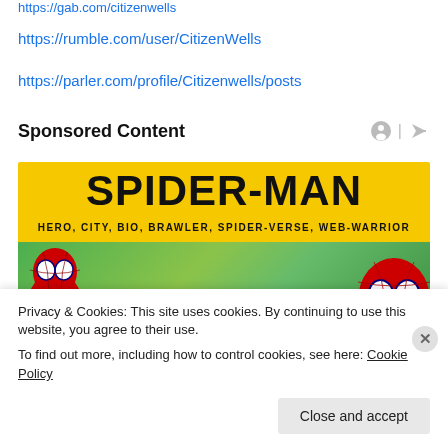https://gab.com/citizenwells
https://rumble.com/user/CitizenWells
https://parler.com/profile/Citizenwells/posts
Sponsored Content
[Figure (illustration): Spider-Man promotional banner advertisement with yellow background, bold black text reading 'SPIDER-MAN' and subtitle 'HERO, CITY, BIO, BRAWLER, SPIDER-VERSE, WEB-WARRIOR', with Spider-Man character illustrations on green city background.]
Privacy & Cookies: This site uses cookies. By continuing to use this website, you agree to their use.
To find out more, including how to control cookies, see here: Cookie Policy